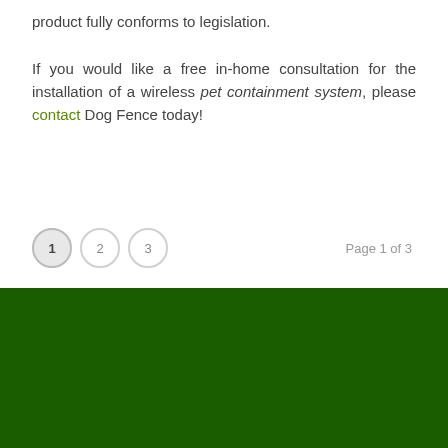product fully conforms to legislation.

If you would like a free in-home consultation for the installation of a wireless pet containment system, please contact Dog Fence today!
1  2  3    Page 1 of 3